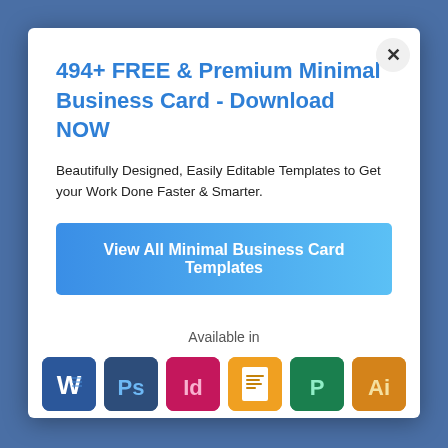494+ FREE & Premium Minimal Business Card - Download NOW
Beautifully Designed, Easily Editable Templates to Get your Work Done Faster & Smarter.
View All Minimal Business Card Templates
Available in
[Figure (illustration): Row of six software application icons: Microsoft Word (blue), Photoshop (dark blue), InDesign (pink/red), Pages (orange/yellow), Publisher (dark green), Illustrator (orange/brown)]